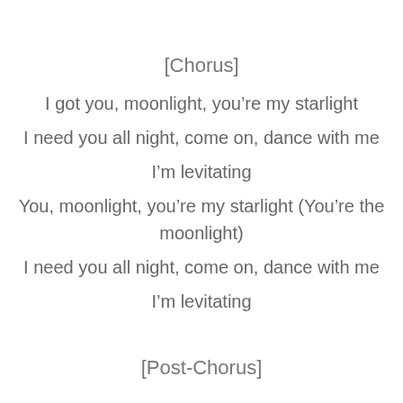[Chorus]
I got you, moonlight, you’re my starlight
I need you all night, come on, dance with me
I’m levitating
You, moonlight, you’re my starlight (You’re the moonlight)
I need you all night, come on, dance with me
I’m levitating
[Post-Chorus]